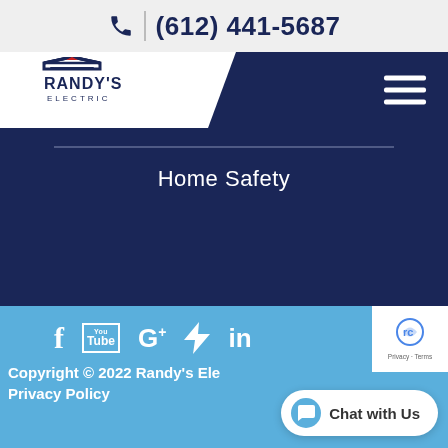(612) 441-5687
[Figure (logo): Randy's Electric logo with house/roof icon and company name]
Home Safety
[Figure (screenshot): Social media icons: Facebook, YouTube, Google+, Angie's List, LinkedIn]
Copyright © 2022 Randy's Ele... | Privacy Policy
[Figure (logo): reCAPTCHA badge with Privacy and Terms links]